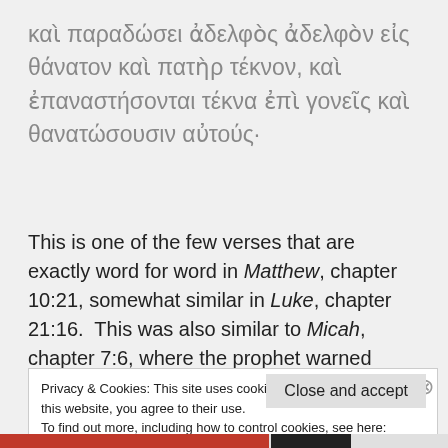καὶ παραδώσει ἀδελφὸς ἀδελφὸν εἰς θάνατον καὶ πατὴρ τέκνον, καὶ ἐπαναστήσονται τέκνα ἐπὶ γονεῖς καὶ θανατώσουσιν αὐτούς·
This is one of the few verses that are exactly word for word in Matthew, chapter 10:21, somewhat similar in Luke, chapter 21:16.  This was also similar to Micah, chapter 7:6, where the prophet warned
Privacy & Cookies: This site uses cookies. By continuing to use this website, you agree to their use.
To find out more, including how to control cookies, see here: Cookie Policy